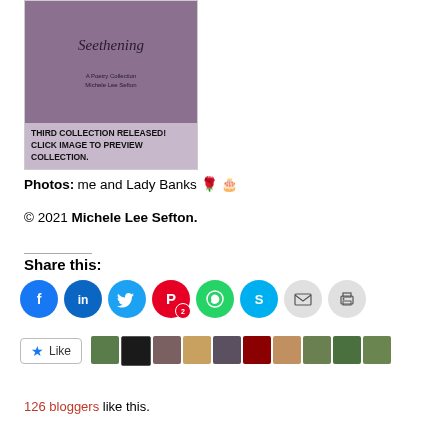[Figure (illustration): Book cover for 'Seethening – A Poetry Collection' by Michele Lee Sefton, with a purple/mauve background and stylized figure. Bottom panel shows text: 'THIRD COLLECTION RELEASED! CLICK IMAGE TO PREVIEW COLLECTION.']
Photos: me and Lady Banks 🌹 🎂
© 2021 Michele Lee Sefton.
Share this:
[Figure (infographic): Social sharing buttons row: Facebook, LinkedIn, Twitter, Pinterest (with badge 2), WhatsApp, Skype, Email, Print]
[Figure (infographic): Like button widget and row of 10 blogger avatars]
126 bloggers like this.